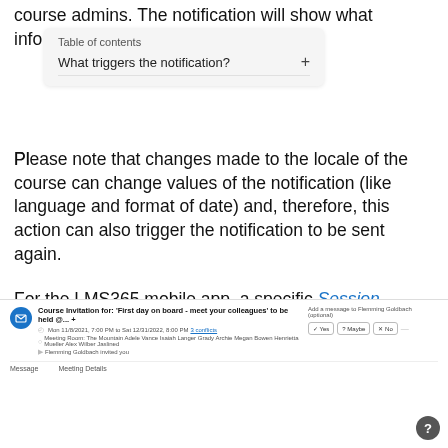course admins. The notification will show what information that has been updated.
What triggers the notification?
Please note that changes made to the locale of the course can change values of the notification (like language and format of date) and, therefore, this action can also trigger the notification to be sent again.
For the LMS365 mobile app, a specific Session Updated notification will be shown.
[Figure (screenshot): Email/calendar invitation screenshot showing 'Course Invitation for: First day on board - meet your colleagues' to be held, with date Mon 11/8/2021 7:00 PM to Sat 12/31/2022 8:00 PM, meeting room and attendees listed, invited by Flemming Goldbach, with Yes/Maybe/No response buttons and a help icon.]